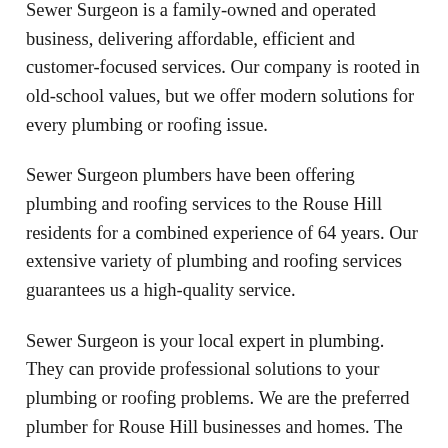Sewer Surgeon is a family-owned and operated business, delivering affordable, efficient and customer-focused services. Our company is rooted in old-school values, but we offer modern solutions for every plumbing or roofing issue.
Sewer Surgeon plumbers have been offering plumbing and roofing services to the Rouse Hill residents for a combined experience of 64 years. Our extensive variety of plumbing and roofing services guarantees us a high-quality service.
Sewer Surgeon is your local expert in plumbing. They can provide professional solutions to your plumbing or roofing problems. We are the preferred plumber for Rouse Hill businesses and homes. The mutual trust we build with our clients is unrivalled and something that we cherish to our hearts every job.